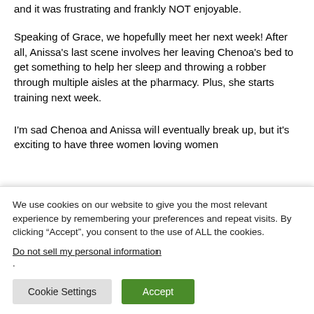and it was frustrating and frankly NOT enjoyable.
Speaking of Grace, we hopefully meet her next week! After all, Anissa's last scene involves her leaving Chenoa's bed to get something to help her sleep and throwing a robber through multiple aisles at the pharmacy. Plus, she starts training next week.
I'm sad Chenoa and Anissa will eventually break up, but it's exciting to have three women loving women
We use cookies on our website to give you the most relevant experience by remembering your preferences and repeat visits. By clicking “Accept”, you consent to the use of ALL the cookies.
Do not sell my personal information.